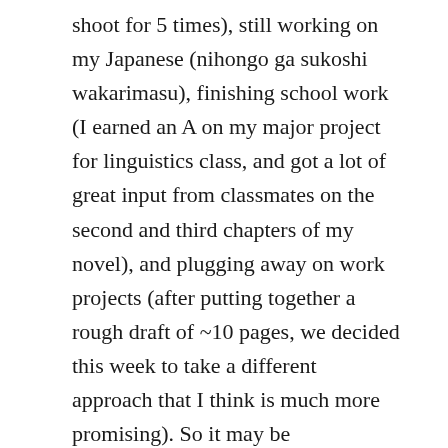shoot for 5 times), still working on my Japanese (nihongo ga sukoshi wakarimasu), finishing school work (I earned an A on my major project for linguistics class, and got a lot of great input from classmates on the second and third chapters of my novel), and plugging away on work projects (after putting together a rough draft of ~10 pages, we decided this week to take a different approach that I think is much more promising). So it may be understandable that, with all of that going on, I haven't been blogging much lately. I won't promise it's going to get much better, either. I'll be driving up to Northern California with my cousin for Thanksgiving, and then flying to Japan on Christmas day to spend a week and a